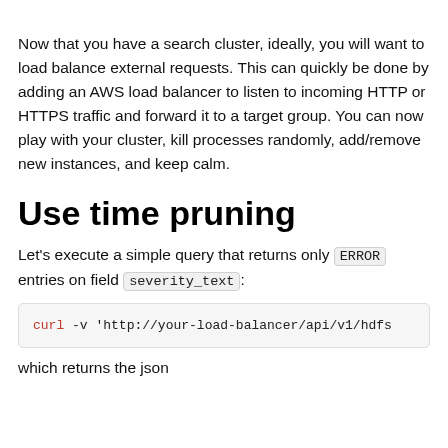Now that you have a search cluster, ideally, you will want to load balance external requests. This can quickly be done by adding an AWS load balancer to listen to incoming HTTP or HTTPS traffic and forward it to a target group. You can now play with your cluster, kill processes randomly, add/remove new instances, and keep calm.
Use time pruning
Let's execute a simple query that returns only ERROR entries on field severity_text:
curl -v 'http://your-load-balancer/api/v1/hdfs
which returns the json